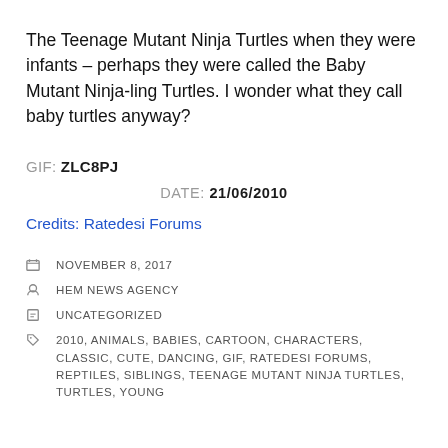The Teenage Mutant Ninja Turtles when they were infants – perhaps they were called the Baby Mutant Ninja-ling Turtles. I wonder what they call baby turtles anyway?
GIF: ZLC8PJ
DATE: 21/06/2010
Credits: Ratedesi Forums
NOVEMBER 8, 2017
HEM NEWS AGENCY
UNCATEGORIZED
2010, ANIMALS, BABIES, CARTOON, CHARACTERS, CLASSIC, CUTE, DANCING, GIF, RATEDESI FORUMS, REPTILES, SIBLINGS, TEENAGE MUTANT NINJA TURTLES, TURTLES, YOUNG